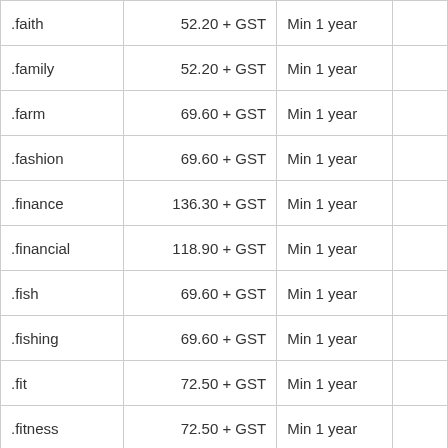| .faith | 52.20 + GST | Min 1 year |  |
| .family | 52.20 + GST | Min 1 year |  |
| .farm | 69.60 + GST | Min 1 year |  |
| .fashion | 69.60 + GST | Min 1 year |  |
| .finance | 136.30 + GST | Min 1 year |  |
| .financial | 118.90 + GST | Min 1 year |  |
| .fish | 69.60 + GST | Min 1 year |  |
| .fishing | 69.60 + GST | Min 1 year |  |
| .fit | 72.50 + GST | Min 1 year |  |
| .fitness | 72.50 + GST | Min 1 year |  |
| .flights | 116.00 + GST | Min 1 year |  |
| .florist | 69.60 + GST | Min 1 year |  |
| .football | 46.40 + GST | Min 1 year |  |
| .forsale | 69.60 + GST | Min 1 year |  |